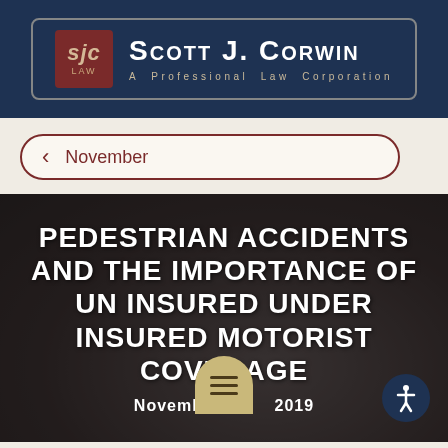[Figure (logo): Scott J. Corwin A Professional Law Corporation logo with SJC LAW square emblem in dark red and white firm name text on navy background]
November
[Figure (photo): Dark blurred car/tire background photo with overlay text: PEDESTRIAN ACCIDENTS AND THE IMPORTANCE OF UN INSURED UNDER INSURED MOTORIST COVERAGE. Date: November 2019]
PEDESTRIAN ACCIDENTS AND THE IMPORTANCE OF UN INSURED UNDER INSURED MOTORIST COVERAGE
November 2019